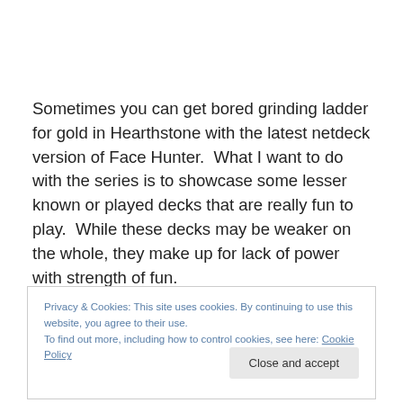Sometimes you can get bored grinding ladder for gold in Hearthstone with the latest netdeck version of Face Hunter.  What I want to do with the series is to showcase some lesser known or played decks that are really fun to play.  While these decks may be weaker on the whole, they make up for lack of power with strength of fun.
Privacy & Cookies: This site uses cookies. By continuing to use this website, you agree to their use.
To find out more, including how to control cookies, see here: Cookie Policy